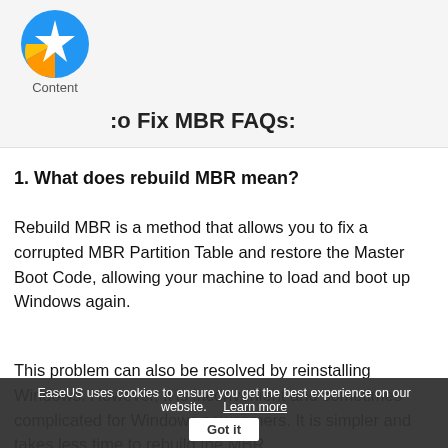[Figure (logo): EaseUS star logo in blue, orange, and yellow colors with 'Content' label below]
to Fix MBR FAQs:
1. What does rebuild MBR mean?
Rebuild MBR is a method that allows you to fix a corrupted MBR Partition Table and restore the Master Boot Code, allowing your machine to load and boot up Windows again.
This problem can also be resolved by reinstalling Windows. However, it is inconvenient and sometimes complicated for Windows newcomers. It is simpler and takes less time to rebuild the MBR.
EaseUS uses cookies to ensure you get the best experience on our website.   Learn more   Got it